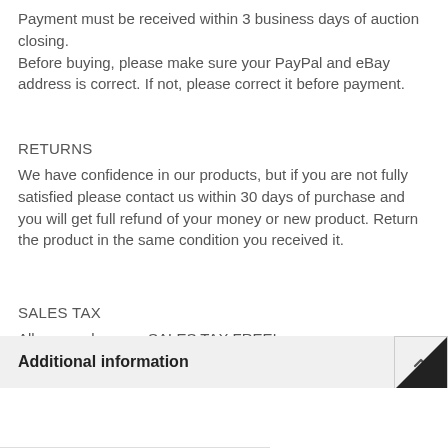Payment must be received within 3 business days of auction closing.
Before buying, please make sure your PayPal and eBay address is correct. If not, please correct it before payment.
RETURNS
We have confidence in our products, but if you are not fully satisfied please contact us within 30 days of purchase and you will get full refund of your money or new product. Return the product in the same condition you received it.
SALES TAX
All our producs are SALES TAX FREE!
Additional information